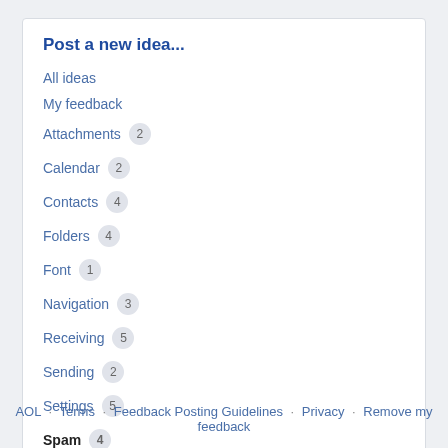Post a new idea...
All ideas
My feedback
Attachments 2
Calendar 2
Contacts 4
Folders 4
Font 1
Navigation 3
Receiving 5
Sending 2
Settings 5
Spam 4
Themes and Background 3
AOL · Terms · Feedback Posting Guidelines · Privacy · Remove my feedback